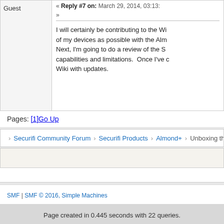Guest
« Reply #7 on: March 29, 2014, 03:13: »
I will certainly be contributing to the Wiki of my devices as possible with the Almo... Next, I'm going to do a review of the SD capabilities and limitations. Once I've d... Wiki with updates.
Pages: [1]  Go Up
Securifi Community Forum › Securifi Products › Almond+ › Unboxing the
SMF | SMF © 2016, Simple Machines
Page created in 0.445 seconds with 22 queries.